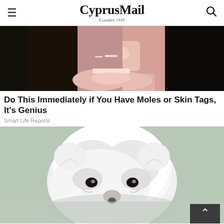CyprusMail Founded 1945
[Figure (photo): Close-up of a woman holding something near her face, showing her lips and chin, with dark hair]
Do This Immediately if You Have Moles or Skin Tags, It's Genius
Smart Life Reports
[Figure (photo): Close-up photo of a fluffy white Maltese puppy with black eyes looking at the camera]